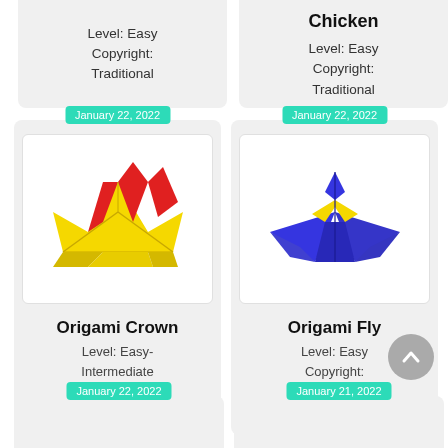Level: Easy
Copyright: Traditional
Chicken
Level: Easy
Copyright: Traditional
January 22, 2022
[Figure (photo): Origami crown made of yellow and red paper]
Origami Crown
Level: Easy-Intermediate
Copyright: Traditional
January 22, 2022
[Figure (photo): Origami fly made of blue and yellow paper]
Origami Fly
Level: Easy
Copyright: Traditional
January 22, 2022
January 21, 2022